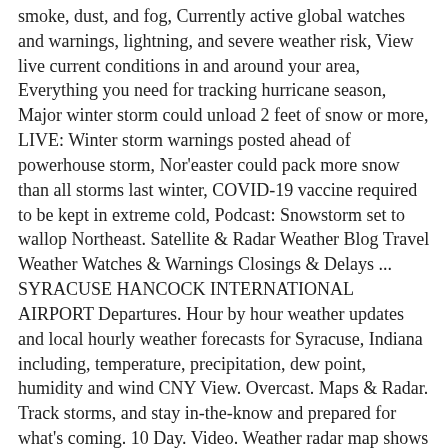smoke, dust, and fog, Currently active global watches and warnings, lightning, and severe weather risk, View live current conditions in and around your area, Everything you need for tracking hurricane season, Major winter storm could unload 2 feet of snow or more, LIVE: Winter storm warnings posted ahead of powerhouse storm, Nor'easter could pack more snow than all storms last winter, COVID-19 vaccine required to be kept in extreme cold, Podcast: Snowstorm set to wallop Northeast. Satellite & Radar Weather Blog Travel Weather Watches & Warnings Closings & Delays ... SYRACUSE HANCOCK INTERNATIONAL AIRPORT Departures. Hour by hour weather updates and local hourly weather forecasts for Syracuse, Indiana including, temperature, precipitation, dew point, humidity and wind CNY View. Overcast. Maps & Radar. Track storms, and stay in-the-know and prepared for what's coming. 10 Day. Video. Weather radar map shows the location of precipitation, its type (rain, snow, and ice) and its recent movement to help you plan your day. Get the Syracuse, NY local hourly forecast including temperature, RealFeel, and chance of precipitation. 3. Syracuse, OH Weather. 8 am . Track storms, and stay in-the-know and prepared for what's coming. A low pressure system lifting through the Great Lakes today will produce some heavy snow. Elev 417 ft, 43.06 °N, 76.07 °W East Syracuse, NY Hourly Weather Forecast star_ratehome. Thu. Sunset. Live Doppler 9 Map Center. Detailed Hourly Forecast — Next 24 hours. Hourly Weather-Syracuse.